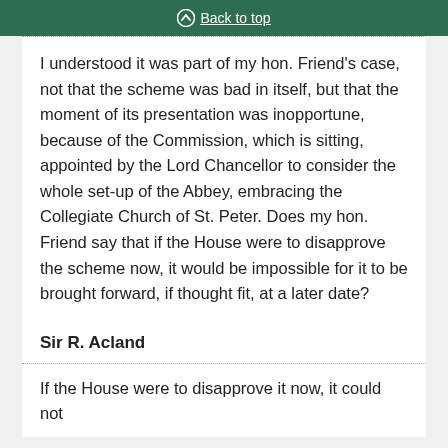Back to top
I understood it was part of my hon. Friend's case, not that the scheme was bad in itself, but that the moment of its presentation was inopportune, because of the Commission, which is sitting, appointed by the Lord Chancellor to consider the whole set-up of the Abbey, embracing the Collegiate Church of St. Peter. Does my hon. Friend say that if the House were to disapprove the scheme now, it would be impossible for it to be brought forward, if thought fit, at a later date?
Sir R. Acland
If the House were to disapprove it now, it could not